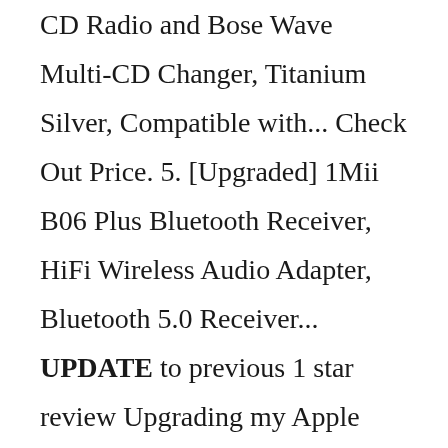CD Radio and Bose Wave Multi-CD Changer, Titanium Silver, Compatible with... Check Out Price. 5. [Upgraded] 1Mii B06 Plus Bluetooth Receiver, HiFi Wireless Audio Adapter, Bluetooth 5.0 Receiver... UPDATE to previous 1 star review Upgrading my Apple devices to iOS 14.3 resolved ALL of my previously issues with Bose Connect. Subsequent to the update to 14.3, the app works flawlessly the very first time I started it up; it immediately paired